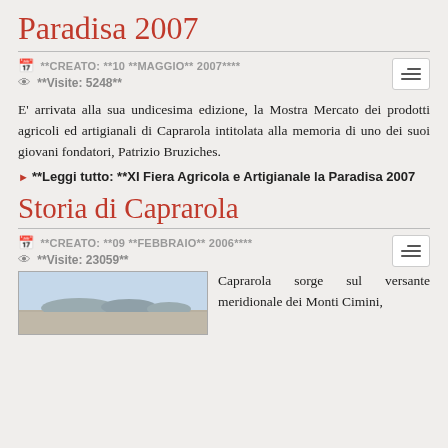Paradisa 2007
**CREATO: **10 **MAGGIO** 2007****
**Visite: 5248**
E' arrivata alla sua undicesima edizione, la Mostra Mercato dei prodotti agricoli ed artigianali di Caprarola intitolata alla memoria di uno dei suoi giovani fondatori, Patrizio Bruziches.
Leggi tutto: **XI Fiera Agricola e Artigianale la Paradisa 2007
Storia di Caprarola
**CREATO: **09 **FEBBRAIO** 2006****
**Visite: 23059**
[Figure (photo): Landscape photo showing mountains or hills in the distance under a hazy sky, likely the Monti Cimini near Caprarola]
Caprarola sorge sul versante meridionale dei Monti Cimini,